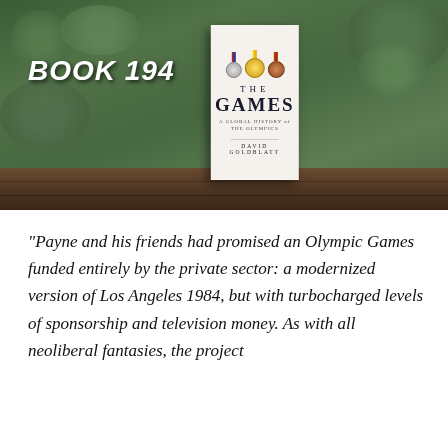[Figure (photo): Photo of the book 'The Games: A Global History of the Olympics' by David Goldblatt, standing upright on a dark wooden bench in front of green foliage. Olympic medals are visible at the top of the book cover. White text overlay reads 'BOOK 194' in the upper left.]
"Payne and his friends had promised an Olympic Games funded entirely by the private sector: a modernized version of Los Angeles 1984, but with turbocharged levels of sponsorship and television money. As with all neoliberal fantasies, the project